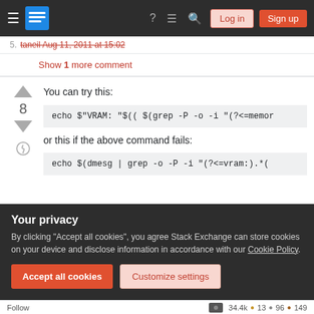Stack Exchange navigation bar with hamburger menu, logo, help, chat, search icons, Log in and Sign up buttons
5. taneil Aug 11, 2011 at 15:02
Show 1 more comment
You can try this:
echo $"VRAM: "$(( $(grep -P -o -i "(?<=memor
or this if the above command fails:
echo $(dmesg | grep -o -P -i "(?<=vram:).*(
Your privacy
By clicking "Accept all cookies", you agree Stack Exchange can store cookies on your device and disclose information in accordance with our Cookie Policy.
Accept all cookies  Customize settings
Follow  34.4k  13  96  149